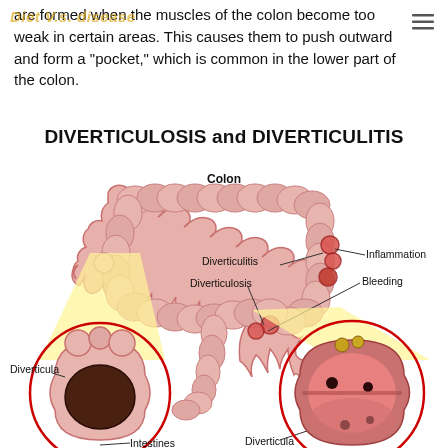Diet V.S. Disease
are formed when the muscles of the colon become too weak in certain areas. This causes them to push outward and form a “pocket,” which is common in the lower part of the colon.
DIVERTICULOSIS and DIVERTICULITIS
[Figure (illustration): Medical illustration showing the colon with diverticulosis and diverticulitis. Labels point to: Colon (top), Diverticulitis, Inflammation, Diverticulosis, Bleeding, Diverticula. Two circular zoom-in insets: left shows intestines with diverticula (dark hollow pocket), right shows inflamed bleeding diverticula. Yellow highlighted zoom areas connect the colon to the insets. Labels: Intestines (bottom left), Diverticula (bottom center-right).]